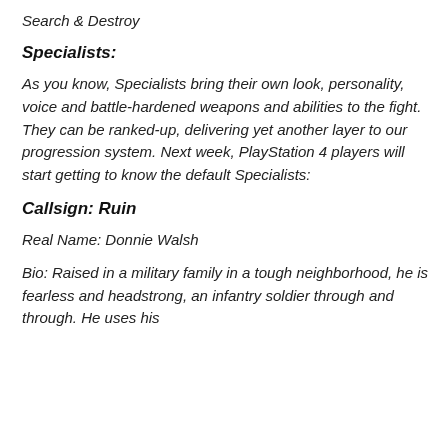Search & Destroy
Specialists:
As you know, Specialists bring their own look, personality, voice and battle-hardened weapons and abilities to the fight. They can be ranked-up, delivering yet another layer to our progression system. Next week, PlayStation 4 players will start getting to know the default Specialists:
Callsign: Ruin
Real Name: Donnie Walsh
Bio: Raised in a military family in a tough neighborhood, he is fearless and headstrong, an infantry soldier through and through. He uses his